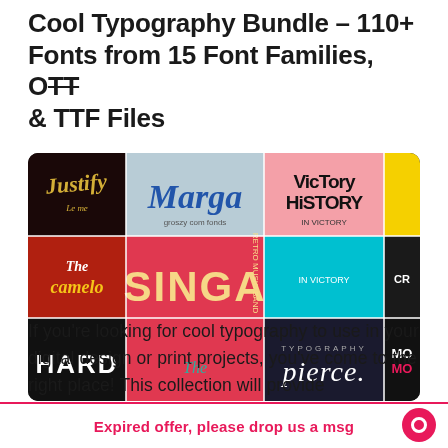Cool Typography Bundle – 110+ Fonts from 15 Font Families, OTF & TTF Files
[Figure (photo): A collage of font family showcase images displaying various typefaces including Justify, Marga, Victory History, Caramelo, Singa, Pierce, Hard, and more, arranged in a grid layout with colorful backgrounds.]
If you're looking for cool typography to use in your digital design or print projects, you've come to the right place! This collection will provide
Expired offer, please drop us a msg